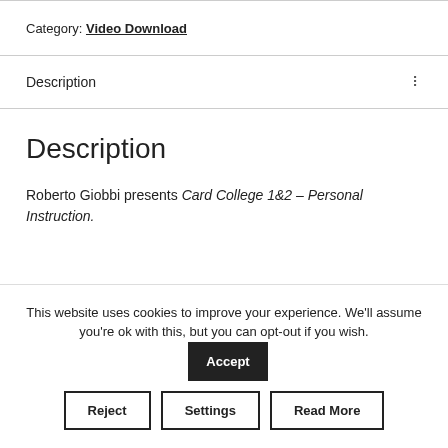Category: Video Download
Description
Description
Roberto Giobbi presents Card College 1&2 – Personal Instruction.
This website uses cookies to improve your experience. We'll assume you're ok with this, but you can opt-out if you wish. Accept
Reject | Settings | Read More